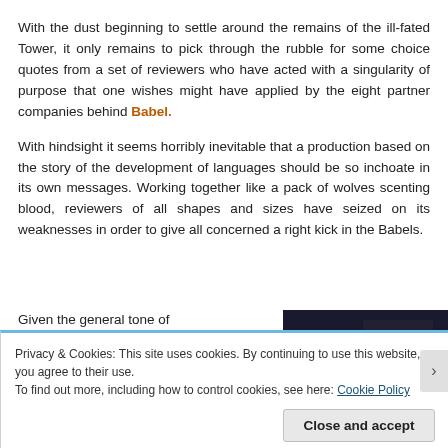With the dust beginning to settle around the remains of the ill-fated Tower, it only remains to pick through the rubble for some choice quotes from a set of reviewers who have acted with a singularity of purpose that one wishes might have applied by the eight partner companies behind Babel.
With hindsight it seems horribly inevitable that a production based on the story of the development of languages should be so inchoate in its own messages. Working together like a pack of wolves scenting blood, reviewers of all shapes and sizes have seized on its weaknesses in order to give all concerned a right kick in the Babels.
Given the general tone of
[Figure (photo): Dark monochrome photograph, appears to show machinery or mechanical equipment]
Privacy & Cookies: This site uses cookies. By continuing to use this website, you agree to their use.
To find out more, including how to control cookies, see here: Cookie Policy
Close and accept